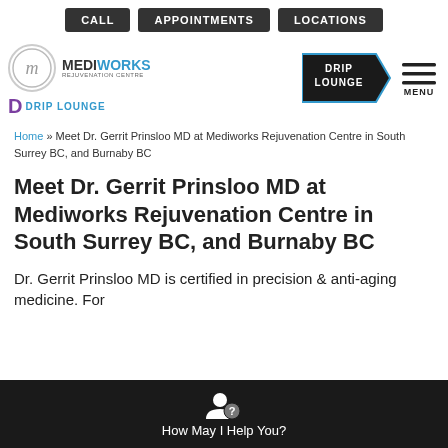CALL | APPOINTMENTS | LOCATIONS
[Figure (logo): Mediworks Rejuvenation Centre and Drip Lounge logos, plus Drip Lounge badge and hamburger menu]
Home » Meet Dr. Gerrit Prinsloo MD at Mediworks Rejuvenation Centre in South Surrey BC, and Burnaby BC
Meet Dr. Gerrit Prinsloo MD at Mediworks Rejuvenation Centre in South Surrey BC, and Burnaby BC
Dr. Gerrit Prinsloo MD is certified in precision & anti-aging medicine. For
How May I Help You?